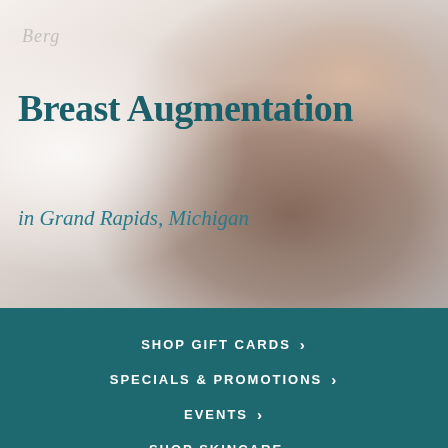[Figure (photo): A woman reclining with dark hair, light background, serving as hero banner image for a medical aesthetics/plastic surgery website about Breast Augmentation in Grand Rapids, Michigan]
Breast Augmentation
in Grand Rapids, Michigan
SHOP GIFT CARDS  >
SPECIALS & PROMOTIONS  >
EVENTS  >
SHOP SKINCARE  >
[Figure (logo): Grand Rapids script logo]
[Figure (logo): Castle Connolly logo with bird/wing emblem]